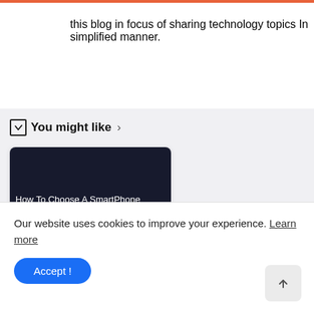this blog in focus of sharing technology topics In simplified manner.
You might like >
[Figure (screenshot): Dark navy card thumbnail with text 'How To Choose A SmartPhone' and watermark '@TECHTRACKER']
How To Choose A
Our website uses cookies to improve your experience. Learn more
Accept !